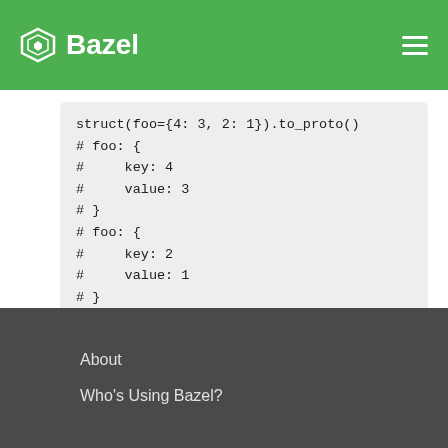Bazel
struct(foo={4: 3, 2: 1}).to_proto()
# foo: {
#     key: 4
#     value: 3
# }
# foo: {
#     key: 2
#     value: 1
# }
Deprecated: use proto.encode_text(x) instead.
About
Who's Using Bazel?